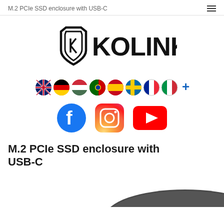M.2 PCIe SSD enclosure with USB-C
[Figure (logo): Kolink brand logo with shield icon and KOLINK text in bold black]
[Figure (infographic): Row of country flag circle icons: UK, Germany, Hungary, Portugal, Spain, Sweden, France, Italy, and a plus sign]
[Figure (infographic): Social media icons: Facebook (blue circle with f), Instagram (gradient camera icon), YouTube (red rectangle with play triangle)]
M.2 PCIe SSD enclosure with USB-C
[Figure (photo): Partial view of a dark grey M.2 PCIe SSD enclosure device, cropped at bottom of page]